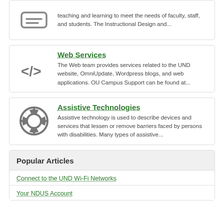[Figure (illustration): Keyboard/database icon (top card, partially visible)]
teaching and learning to meet the needs of faculty, staff, and students. The Instructional Design and...
[Figure (illustration): HTML code tag icon </> in gray]
Web Services
The Web team provides services related to the UND website, OmniUpdate, Wordpress blogs, and web applications. OU Campus Support can be found at...
[Figure (illustration): Life preserver / help ring icon in gray]
Assistive Technologies
Assistive technology is used to describe devices and services that lessen or remove barriers faced by persons with disabilities. Many types of assistive...
Popular Articles
Connect to the UND Wi-Fi Networks
Your NDUS Account